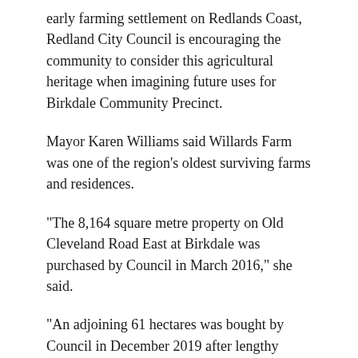early farming settlement on Redlands Coast, Redland City Council is encouraging the community to consider this agricultural heritage when imagining future uses for Birkdale Community Precinct.
Mayor Karen Williams said Willards Farm was one of the region's oldest surviving farms and residences.
“The 8,164 square metre property on Old Cleveland Road East at Birkdale was purchased by Council in March 2016,” she said.
“An adjoining 61 hectares was bought by Council in December 2019 after lengthy negotiations with the Commonwealth Government.
“Council effectively saved both properties from potential subdivision and together they now form what we’re currently calling Birkdale Community Precinct.”